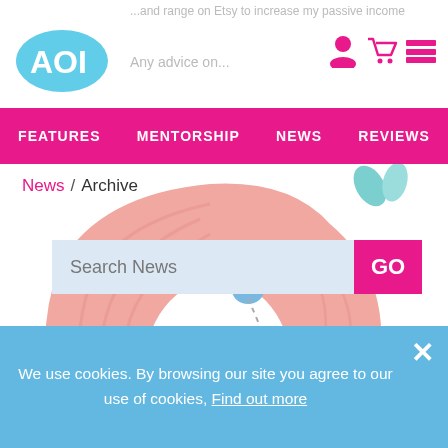...and range on Etsy to increase my passive income
Any advice on...
FEATURES   MENTORSHIP   NEWS   REVIEWS
News / Archive
Search News
[Figure (illustration): Illustrated penguin-like character with pink hair/wings and teal leaf decorations, cartoon style illustration]
We use cookies. By browsing our site you agree to our use of cookies, Find out more